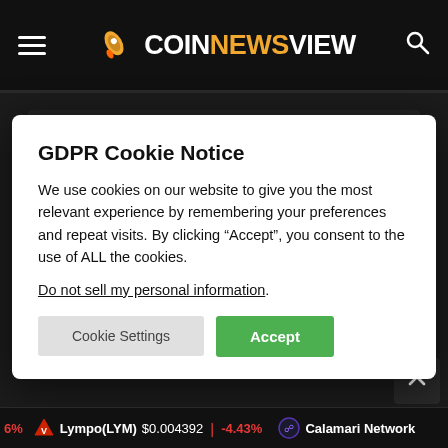COINNEWSVIEW
GDPR Cookie Notice
We use cookies on our website to give you the most relevant experience by remembering your preferences and repeat visits. By clicking “Accept”, you consent to the use of ALL the cookies.
Do not sell my personal information.
Cookie Settings  Accept
Lympo(LYM) $0.004392 -4.43% | Calamari Network